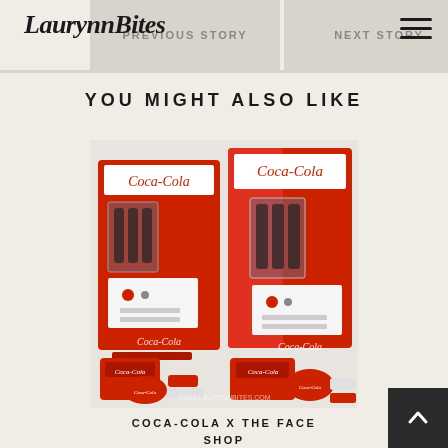LaurynnBites
PREVIOUS STORY
NEXT STORY
YOU MIGHT ALSO LIKE
[Figure (photo): Two vintage-style red and white Coca-Cola vending machines displayed open alongside Coca-Cola branded cosmetic products including compact, lip products, and accessories. Watermark: www.laurynnbites.com]
COCA-COLA X THE FACE SHOP